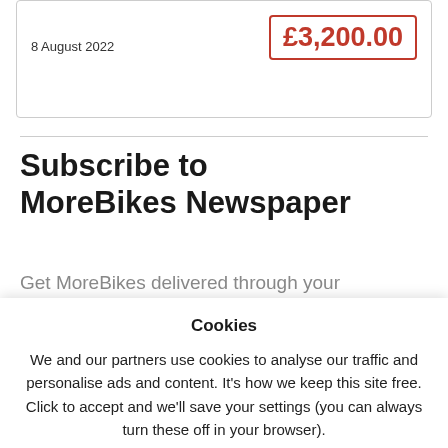8 August 2022
£3,200.00
Subscribe to MoreBikes Newspaper
Get MoreBikes delivered through your
Cookies
We and our partners use cookies to analyse our traffic and personalise ads and content. It's how we keep this site free. Click to accept and we'll save your settings (you can always turn these off in your browser).
Privacy Policy
ACCEPT